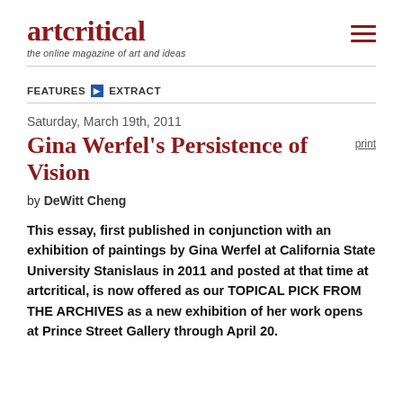artcritical — the online magazine of art and ideas
FEATURES ▶ EXTRACT
Saturday, March 19th, 2011
Gina Werfel's Persistence of Vision
by DeWitt Cheng
This essay, first published in conjunction with an exhibition of paintings by Gina Werfel at California State University Stanislaus in 2011 and posted at that time at artcritical, is now offered as our TOPICAL PICK FROM THE ARCHIVES as a new exhibition of her work opens at Prince Street Gallery through April 20.